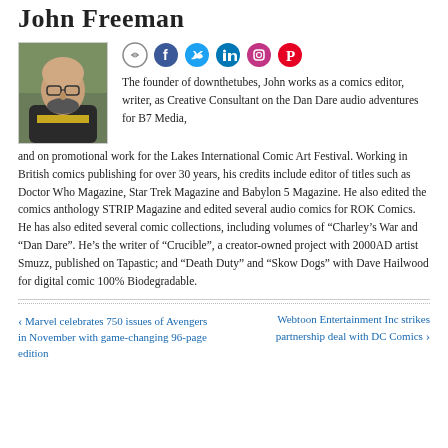John Freeman
[Figure (photo): Headshot photo of John Freeman, a bald man with glasses and a beard, wearing a dark jacket.]
The founder of downthetubes, John works as a comics editor, writer, as Creative Consultant on the Dan Dare audio adventures for B7 Media, and on promotional work for the Lakes International Comic Art Festival. Working in British comics publishing for over 30 years, his credits include editor of titles such as Doctor Who Magazine, Star Trek Magazine and Babylon 5 Magazine. He also edited the comics anthology STRIP Magazine and edited several audio comics for ROK Comics. He has also edited several comic collections, including volumes of “Charley’s War and “Dan Dare”. He’s the writer of “Crucible”, a creator-owned project with 2000AD artist Smuzz, published on Tapastic; and “Death Duty” and “Skow Dogs” with Dave Hailwood for digital comic 100% Biodegradable.
‹ Marvel celebrates 750 issues of Avengers in November with game-changing 96-page edition
Webtoon Entertainment Inc strikes partnership deal with DC Comics ›